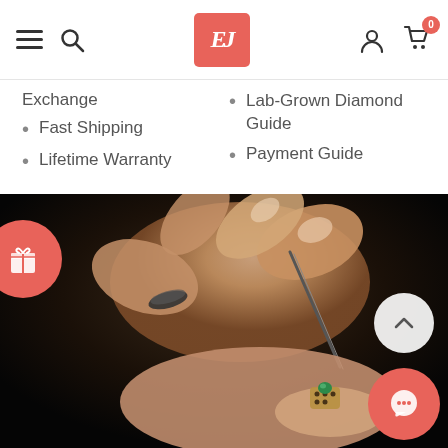EJ jewelry website navigation header with hamburger menu, search, logo, user icon, and cart (0)
Exchange
Fast Shipping
Lifetime Warranty
Lab-Grown Diamond Guide
Payment Guide
[Figure (photo): Close-up photo of a jeweler's hands using tweezers to set a green gemstone into a piece of jewelry on a workbench. Person wears a dark ring on one finger. Background is dark/black.]